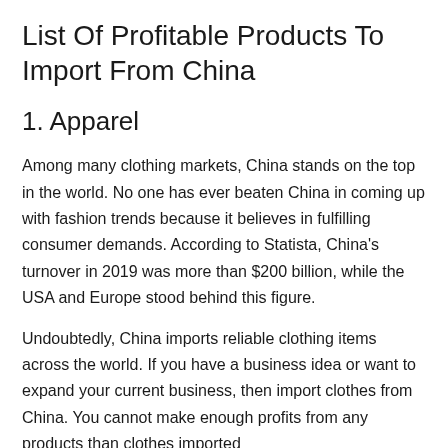List Of Profitable Products To Import From China
1. Apparel
Among many clothing markets, China stands on the top in the world. No one has ever beaten China in coming up with fashion trends because it believes in fulfilling consumer demands. According to Statista, China's turnover in 2019 was more than $200 billion, while the USA and Europe stood behind this figure.
Undoubtedly, China imports reliable clothing items across the world. If you have a business idea or want to expand your current business, then import clothes from China. You cannot make enough profits from any products than clothes imported